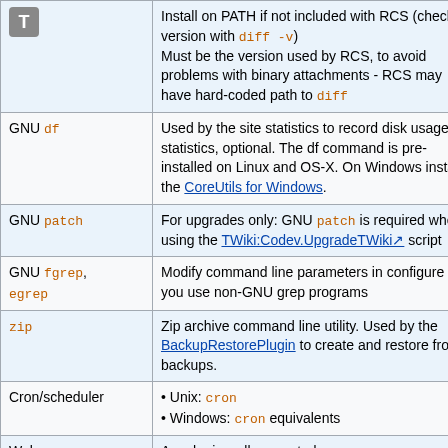| Tool | Description |
| --- | --- |
| [T icon] | Install on PATH if not included with RCS (check version with diff -v)
Must be the version used by RCS, to avoid problems with binary attachments - RCS may have hard-coded path to diff |
| GNU df | Used by the site statistics to record disk usage statistics, optional. The df command is pre-installed on Linux and OS-X. On Windows install the CoreUtils for Windows. |
| GNU patch | For upgrades only: GNU patch is required when using the TWiki:Codev.UpgradeTWiki script |
| GNU fgrep, egrep | Modify command line parameters in configure if you use non-GNU grep programs |
| zip | Zip archive command line utility. Used by the BackupRestorePlugin to create and restore from backups. |
| Cron/scheduler | • Unix: cron
• Windows: cron equivalents |
| Web server | Apache is well supported; see |